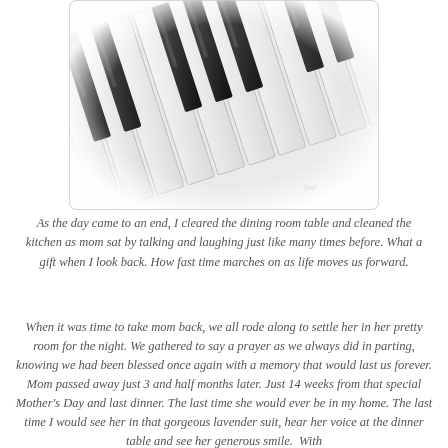[Figure (photo): Close-up photograph of piano keys (black and white keys) viewed at an angle, with a soft vignette/fade effect around the edges. A small watermark or signature is visible in the lower right area.]
As the day came to an end, I cleared the dining room table and cleaned the kitchen as mom sat by talking and laughing just like many times before. What a gift when I look back. How fast time marches on as life moves us forward.
When it was time to take mom back, we all rode along to settle her in her pretty room for the night. We gathered to say a prayer as we always did in parting, knowing we had been blessed once again with a memory that would last us forever. Mom passed away just 3 and half months later. Just 14 weeks from that special Mother's Day and last dinner. The last time she would ever be in my home. The last time I would see her in that gorgeous lavender suit, hear her voice at the dinner table and see her generous smile.  With